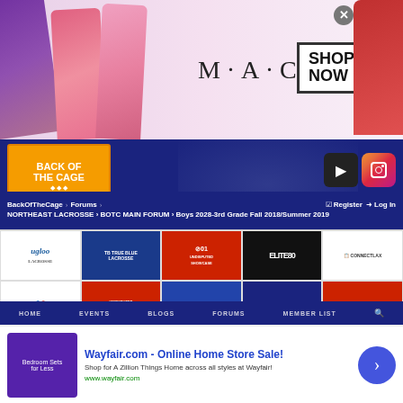[Figure (screenshot): MAC cosmetics advertisement banner with lipstick images and 'SHOP NOW' button]
[Figure (screenshot): BackOfTheCage lacrosse website header with logo and social media icons]
[Figure (screenshot): Grid of lacrosse sponsor logos including Ugloo Lacrosse, True Blue Lacrosse, D01 Undisputed Showcase, Elite80, ConnectLax, DSoutfitters, Undisputed Showcase D01, 365, Vantage, CBU Showcase, Express, CCES, NOTB, Legacy, LAX ON]
Free Game Film Now
BackOfTheCage  Forums  NORTHEAST LACROSSE  BOTC MAIN FORUM  Boys 2028-3rd Grade Fall 2018/Summer 2019
Register  Log In
HOME  EVENTS  BLOGS  FORUMS  MEMBER LIST
[Figure (screenshot): Wayfair.com advertisement - Online Home Store Sale! Shop for A Zillion Things Home across all styles at Wayfair! www.wayfair.com]